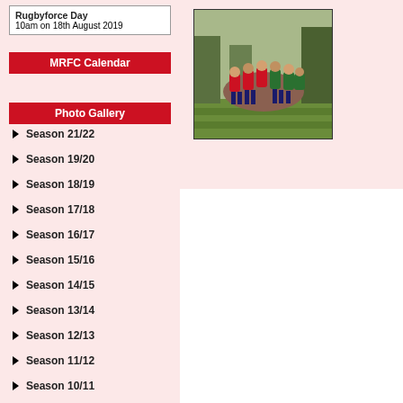Rugbyforce Day
10am on 18th August 2019
MRFC Calendar
Photo Gallery
Season 21/22
Season 19/20
Season 18/19
Season 17/18
Season 16/17
Season 15/16
Season 14/15
Season 13/14
Season 12/13
Season 11/12
Season 10/11
Junior Gallery
Season 09/10
Season 08/09
[Figure (photo): Rugby players in a scrum/maul on a grass field, wearing red and green jerseys]